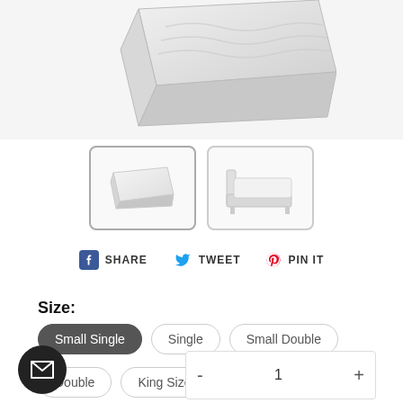[Figure (photo): Top portion of a white mattress shown at an angle, partially cropped at top of page]
[Figure (photo): Two thumbnail images: first (selected/bordered) shows white mattress from above, second shows white mattress on a bed frame]
SHARE
TWEET
PIN IT
Size:
Small Single
Single
Small Double
Double
King Size
- 1 +